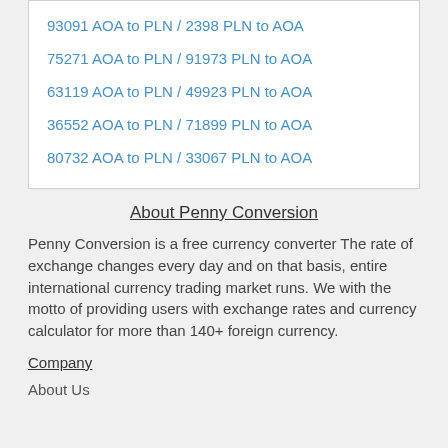93091 AOA to PLN / 2398 PLN to AOA
75271 AOA to PLN / 91973 PLN to AOA
63119 AOA to PLN / 49923 PLN to AOA
36552 AOA to PLN / 71899 PLN to AOA
80732 AOA to PLN / 33067 PLN to AOA
About Penny Conversion
Penny Conversion is a free currency converter The rate of exchange changes every day and on that basis, entire international currency trading market runs. We with the motto of providing users with exchange rates and currency calculator for more than 140+ foreign currency.
Company
About Us